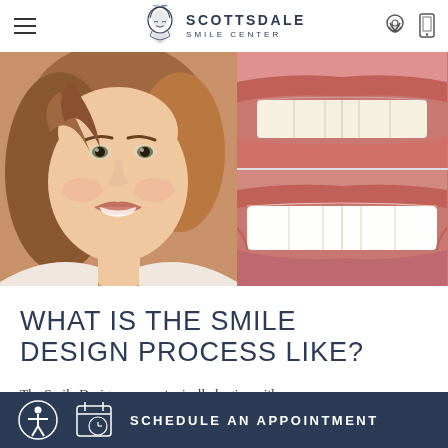SCOTTSDALE SMILE CENTER
[Figure (photo): Collage of a smiling woman (left) and two close-up photos of teeth/smile (right top and right bottom)]
WHAT IS THE SMILE DESIGN PROCESS LIKE?
The Smile Design process typically begins with a
SCHEDULE AN APPOINTMENT